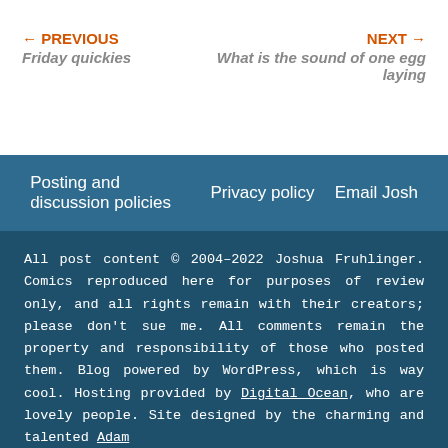← PREVIOUS
Friday quickies
NEXT →
What is the sound of one egg laying
Posting and discussion policies | Privacy policy | Email Josh
All post content © 2004–2022 Joshua Fruhlinger. Comics reproduced here for purposes of review only, and all rights remain with their creators; please don't sue me. All comments remain the property and responsibility of those who posted them. Blog powered by WordPress, which is way cool. Hosting provided by Digital Ocean, who are lovely people. Site designed by the charming and talented Adam